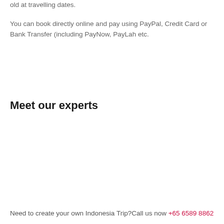old at travelling dates.
You can book directly online and pay using PayPal, Credit Card or Bank Transfer (including PayNow, PayLah etc.
Meet our experts
Need to create your own Indonesia Trip?Call us now +65 6589 8862